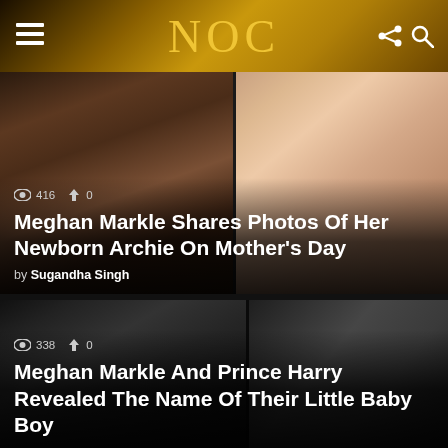NOC
[Figure (photo): Top news card: Meghan Markle and Prince Harry with newborn Archie (left, color photo), and a close-up of a baby's hand (right, color photo)]
Meghan Markle Shares Photos Of Her Newborn Archie On Mother's Day
by Sugandha Singh
[Figure (photo): Bottom news card: Black and white photo of Meghan and Harry holding baby Archie (left), and black and white photo of Harry and Meghan from behind (right)]
Meghan Markle And Prince Harry Revealed The Name Of Their Little Baby Boy